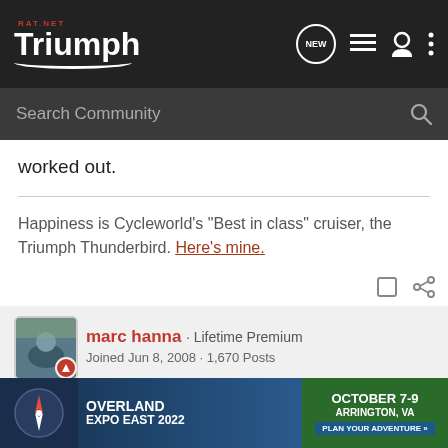Triumph RAT.NET — Navigation bar with logo, NEW, list, user, and menu icons
Search Community
worked out.
Happiness is Cycleworld's "Best in class" cruiser, the Triumph Thunderbird. Here's mine.
marc hanna · Lifetime Premium
Joined Jun 8, 2008 · 1,670 Posts
#3 · Jun 8, 2009
I don't h... on my bike... ard
[Figure (advertisement): Overland Expo East 2022 banner ad — October 7-9, Arrington, VA — Plan Your Adventure]